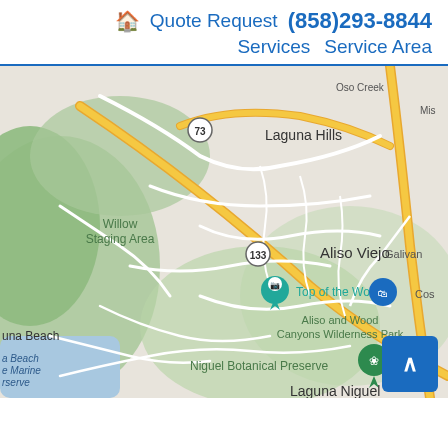🏠 Quote Request (858)293-8844 Services Service Area
[Figure (map): Google Maps view showing Aliso Viejo area in Southern California, including Laguna Hills, Willow Staging Area, Top of the World, Aliso and Wood Canyons Wilderness Park, Niguel Botanical Preserve, Laguna Niguel, Laguna Beach, and nearby roads including route 73 and 133.]